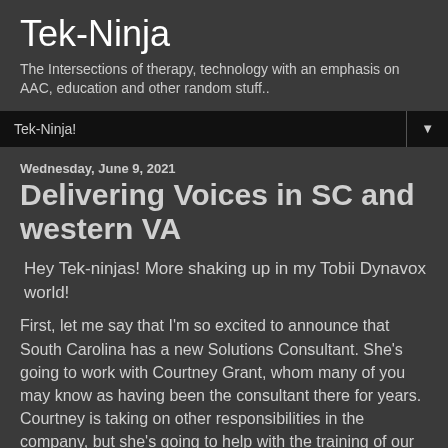Tek-Ninja
The Intersections of therapy, technology with an emphasis on AAC, education and other random stuff..
Tek-Ninja!
Wednesday, June 9, 2021
Delivering Voices in SC and western VA
Hey Tek-ninjas! More shaking up in my Tobii Dynavox world!
First, let me say that I'm so excited to announce that South Carolina has a new Solutions Consultant. She's going to work with Courtney Grant, whom many of you may know as having been the consultant there for years. Courtney is taking on other responsibilities in the company, but she's going to help with the training of our new hire, Emilie Peel